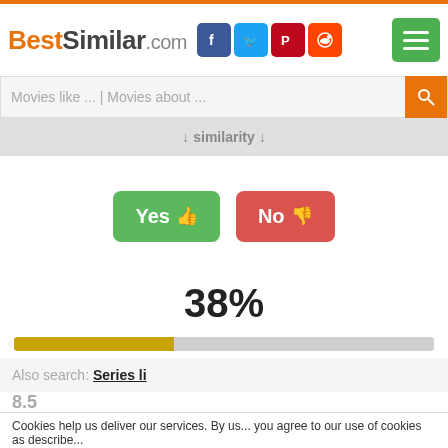BestSimilar.com
Movies like ... | Movies about ...
↓ similarity ↓
Yes 👍
No 👎
38%
[Figure (infographic): Horizontal progress bar showing 38% filled in yellow/gold color]
Also search: Series li...
8.5
Cookies help us deliver our services. By us... you agree to our use of cookies as describe...
[Figure (photo): Advertisement overlay showing Azealia Banks with play button and slap. branding]